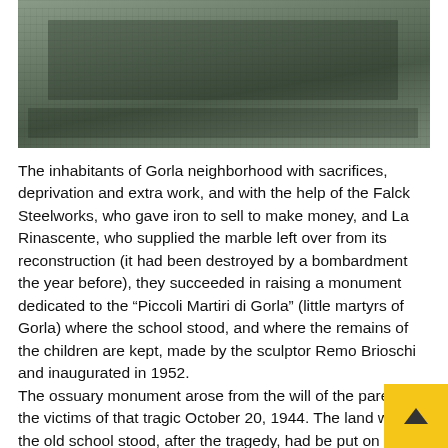[Figure (photo): Historical black and white photograph showing a group of people, appears to be a crowd or group scene, grainy/degraded image quality]
The inhabitants of Gorla neighborhood with sacrifices, deprivation and extra work, and with the help of the Falck Steelworks, who gave iron to sell to make money, and La Rinascente, who supplied the marble left over from its reconstruction (it had been destroyed by a bombardment the year before), they succeeded in raising a monument dedicated to the “Piccoli Martiri di Gorla” (little martyrs of Gorla) where the school stood, and where the remains of the children are kept, made by the sculptor Remo Brioschi and inaugurated in 1952.
The ossuary monument arose from the will of the parents of the victims of that tragic October 20, 1944. The land where the old school stood, after the tragedy, had be put on sale by the Municipality for the figure of Liras 6,000,000 (about six million) which would have been used for the construction of a cinema. Children’s parents,